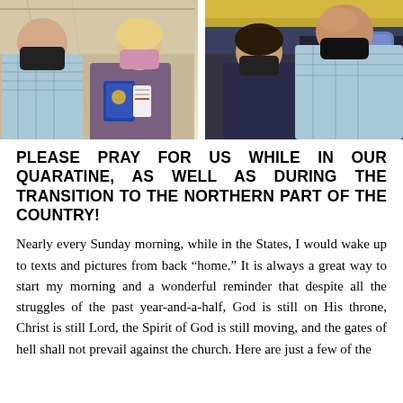[Figure (photo): Two people wearing face masks at an airport, one holding passports and boarding passes]
[Figure (photo): Two people wearing face masks seated inside an airplane cabin]
PLEASE PRAY FOR US WHILE IN OUR QUARATINE, AS WELL AS DURING THE TRANSITION TO THE NORTHERN PART OF THE COUNTRY!
Nearly every Sunday morning, while in the States, I would wake up to texts and pictures from back “home.” It is always a great way to start my morning and a wonderful reminder that despite all the struggles of the past year-and-a-half, God is still on His throne, Christ is still Lord, the Spirit of God is still moving, and the gates of hell shall not prevail against the church. Here are just a few of the